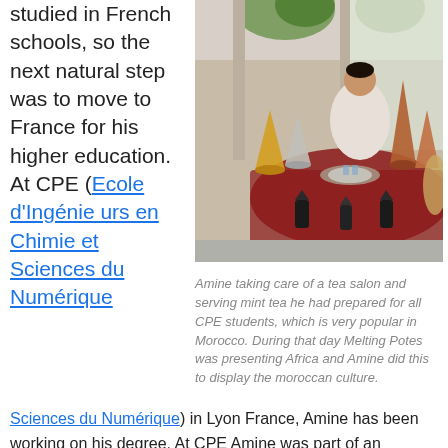studied in French schools, so the next natural step was to move to France for his higher education. At CPE (Ecole d'Ingénieurs en Chimie et Sciences du Numérique) in Lyon France, Amine has been working on his degree. At CPE Amine was part of an
[Figure (photo): A man in white clothing sitting behind a display of Moroccan tea items including brass and copper teapots, lanterns, and decorative items on a red carpet, in what appears to be an indoor event space.]
Amine taking care of a tea salon and serving mint tea he had prepared for all CPE students, which is very popular in Morocco. During that day Melting Potes was presenting Africa and Amine did this to display the moroccan culture.